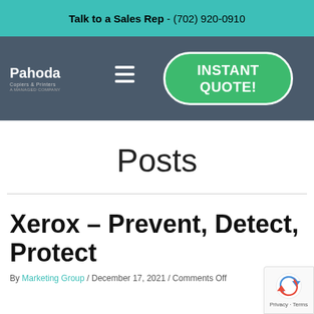Talk to a Sales Rep - (702) 920-0910
[Figure (logo): Pahoda Copiers & Printers logo with tagline, navigation bar with hamburger menu and INSTANT QUOTE! button]
Posts
Xerox – Prevent, Detect, Protect
By Marketing Group / December 17, 2021 / Comments Off